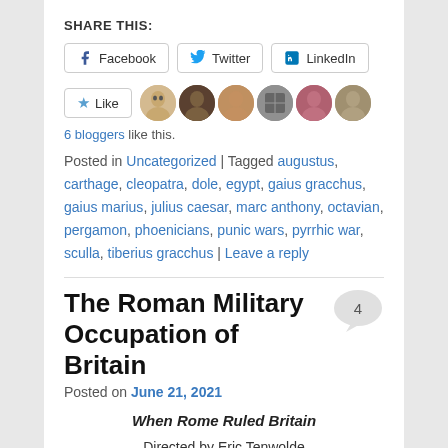SHARE THIS:
Facebook | Twitter | LinkedIn (social share buttons)
[Figure (other): Like button with star icon and 6 blogger avatar thumbnails]
6 bloggers like this.
Posted in Uncategorized | Tagged augustus, carthage, cleopatra, dole, egypt, gaius gracchus, gaius marius, julius caesar, marc anthony, octavian, pergamon, phoenicians, punic wars, pyrrhic war, sculla, tiberius gracchus | Leave a reply
The Roman Military Occupation of Britain
Posted on June 21, 2021
When Rome Ruled Britain
Directed by Eric Tenwolde